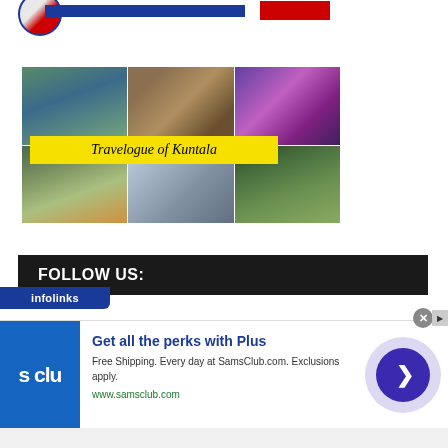[Figure (illustration): Website header bar with circular logo, blue horizontal bar and red rectangle]
[Figure (photo): Travelogue of Kuntala collage image with 6 panels showing landscapes, a clay pot, a dancer, a sunset, a building, and a forest path, with yellow banner text reading 'Travelogue of Kuntala']
FOLLOW US:
[Figure (illustration): Infolinks tab label in blue]
[Figure (illustration): Advertisement for Sam's Club: 'Get all the perks with Plus' — Free Shipping. Every day at SamsClub.com. Exclusions apply. www.samsclub.com]